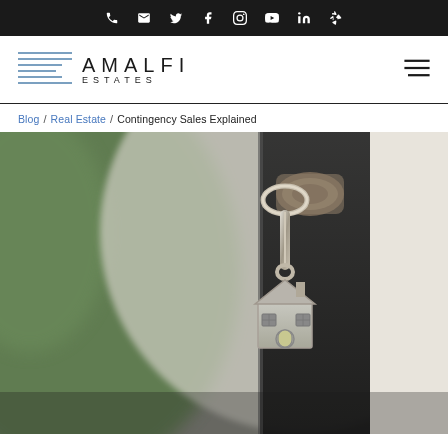Amalfi Estates — navigation icons: phone, email, twitter, facebook, instagram, youtube, linkedin, yelp
[Figure (logo): Amalfi Estates logo: horizontal lines graphic on left, 'AMALFI ESTATES' text on right]
Blog / Real Estate / Contingency Sales Explained
[Figure (photo): Close-up photo of a silver house-shaped keychain hanging on a key inserted in a door lock, blurred green background]